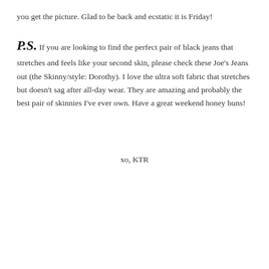you get the picture. Glad to be back and ecstatic it is Friday!
P.S. If you are looking to find the perfect pair of black jeans that stretches and feels like your second skin, please check these Joe’s Jeans out (the Skinny/style: Dorothy). I love the ultra soft fabric that stretches but doesn’t sag after all-day wear. They are amazing and probably the best pair of skinnies I’ve ever own. Have a great weekend honey buns!
xo, KTR